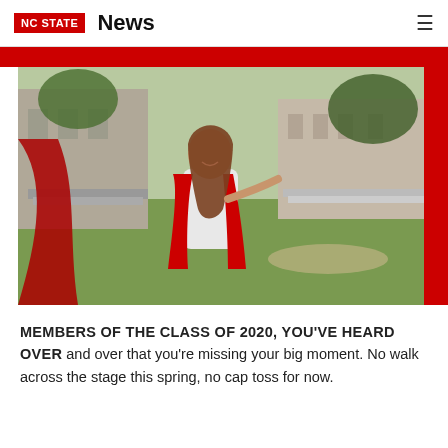NC STATE  News
[Figure (photo): A smiling young woman with long brown hair wearing a white dress and red graduation gown, tossing the gown, standing on a campus green with a stone building in the background]
MEMBERS OF THE CLASS OF 2020, YOU'VE HEARD OVER and over that you're missing your big moment. No walk across the stage this spring, no cap toss for now.